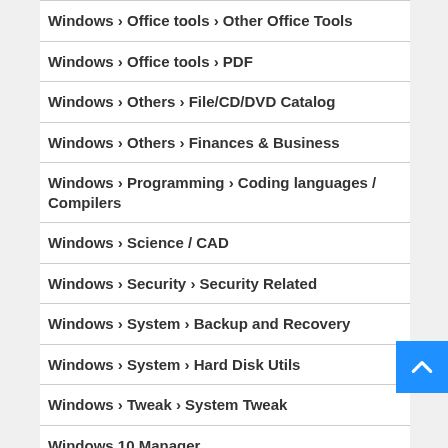Windows › Office tools › Other Office Tools
Windows › Office tools › PDF
Windows › Others › File/CD/DVD Catalog
Windows › Others › Finances & Business
Windows › Programming › Coding languages / Compilers
Windows › Science / CAD
Windows › Security › Security Related
Windows › System › Backup and Recovery
Windows › System › Hard Disk Utils
Windows › Tweak › System Tweak
Windows 10 Manager